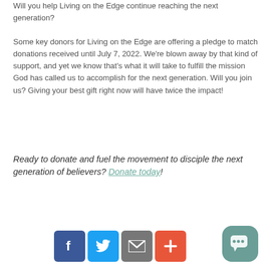Will you help Living on the Edge continue reaching the next generation?
Some key donors for Living on the Edge are offering a pledge to match donations received until July 7, 2022. We’re blown away by that kind of support, and yet we know that’s what it will take to fulfill the mission God has called us to accomplish for the next generation. Will you join us? Giving your best gift right now will have twice the impact!
Ready to donate and fuel the movement to disciple the next generation of believers? Donate today!
[Figure (infographic): Row of social sharing icons: Facebook (blue), Twitter (light blue), Email (gray), Plus/More (orange-red), and a teal chat bubble icon on the right.]